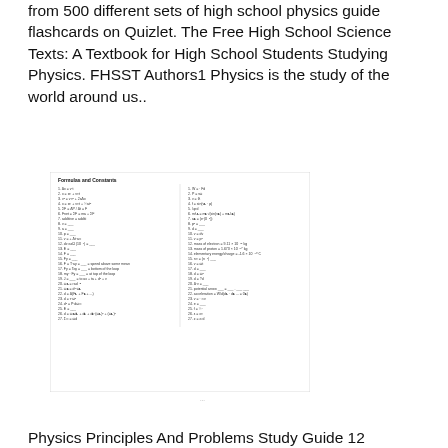from 500 different sets of high school physics guide flashcards on Quizlet. The Free High School Science Texts: A Textbook for High School Students Studying Physics. FHSST Authors1 Physics is the study of the world around us..
[Figure (other): A formula and constants sheet for high school physics, showing two columns of numbered physics equations and constants in small print.]
...
Physics Principles And Problems Study Guide 12